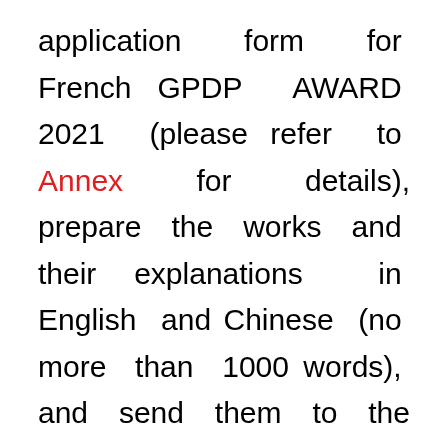application form for French GPDP AWARD 2021 (please refer to Annex for details), prepare the works and their explanations in English and Chinese (no more than 1000 words), and send them to the official email of the organizing committee. After submitting the application materials, all the participants shall pay the entry